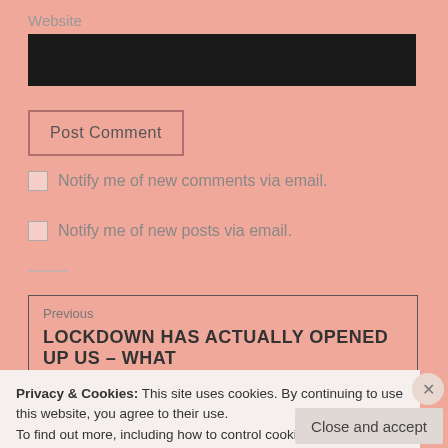Website
[Figure (screenshot): Dark/black input field for website URL entry]
Post Comment
Notify me of new comments via email.
Notify me of new posts via email.
Previous
LOCKDOWN HAS ACTUALLY OPENED UP US – WHAT
Privacy & Cookies: This site uses cookies. By continuing to use this website, you agree to their use.
To find out more, including how to control cookies, see here: Cookie Policy
Close and accept